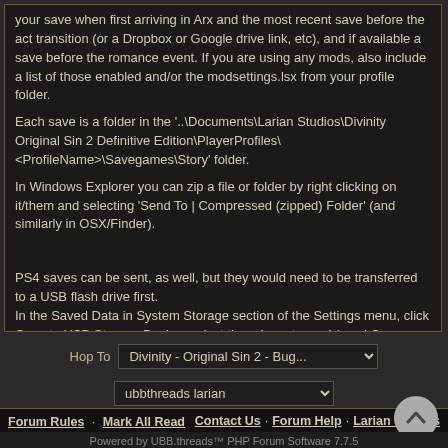your save when first arriving in Arx and the most recent save before the act transition (or a Dropbox or Google drive link, etc), and if available a save before the romance event. If you are using any mods, also include a list of those enabled and/or the modsettings.lsx from your profile folder.
Each save is a folder in the '..\Documents\Larian Studios\Divinity Original Sin 2 Definitive Edition\PlayerProfiles\<ProfileName>\Savegames\Story' folder.
In Windows Explorer you can zip a file or folder by right clicking on it/them and selecting 'Send To | Compressed (zipped) Folder' (and similarly in OSX/Finder).

PS4 saves can be sent, as well, but they would need to be transferred to a USB flash drive first.
In the Saved Data in System Storage section of the Settings menu, click Copy to USB Storage Device, select the relevant save(s) and Copy.
From there you can zip the files, then copy to email or upload somewhere and provide a link.
Hop To  Divinity - Original Sin 2 - Bug...
ubbthreads larian
Forum Rules · Mark All Read · Contact Us · Forum Help · Larian Studios
Powered by UBB.threads™ PHP Forum Software 7.7.5